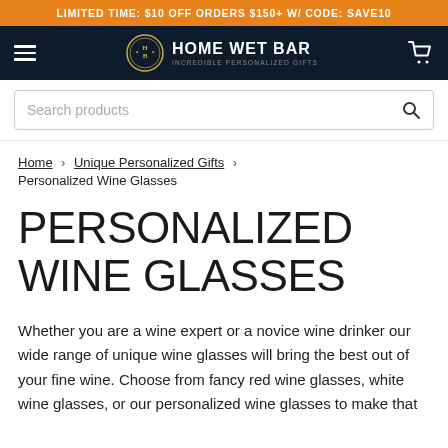LIMITED TIME: $10 OFF ORDERS $150+ W/ CODE: SAVE10
[Figure (logo): Home Wet Bar logo with circular emblem and text 'HOME WET BAR INCREDIBLE PERSONALIZED GIFTS' on dark navy navigation bar with hamburger menu and cart icon]
Search products
Home > Unique Personalized Gifts > Personalized Wine Glasses
PERSONALIZED WINE GLASSES
Whether you are a wine expert or a novice wine drinker our wide range of unique wine glasses will bring the best out of your fine wine. Choose from fancy red wine glasses, white wine glasses, or our personalized wine glasses to make that